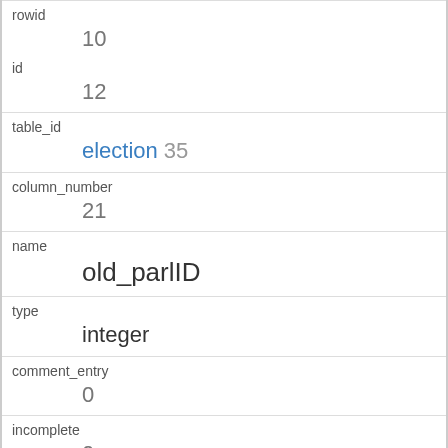| field | value |
| --- | --- |
| rowid | 10 |
| id | 12 |
| table_id | election 35 |
| column_number | 21 |
| name | old_parlID |
| type | integer |
| comment_entry | 0 |
| incomplete | 0 |
| description | Previous election ID used versions prior to ParlGov 10/11 -- five digit number composed of the year the election took place and an ascending digit |